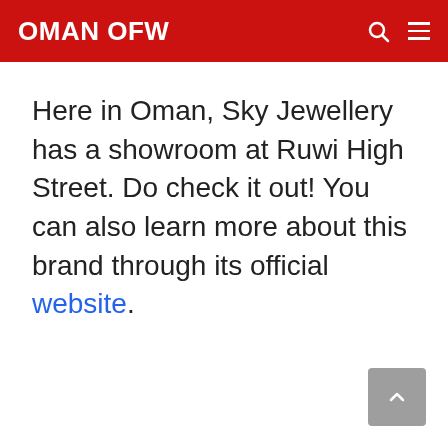OMAN OFW
Here in Oman, Sky Jewellery has a showroom at Ruwi High Street. Do check it out! You can also learn more about this brand through its official website.